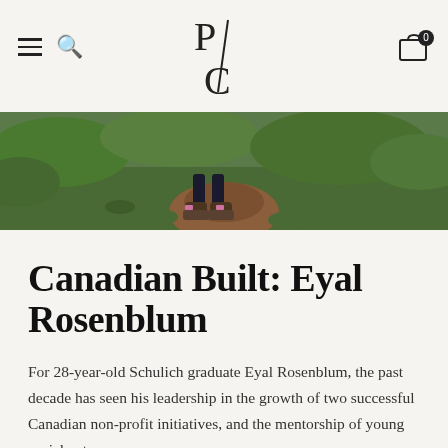P/C navigation bar with hamburger menu, search icon, P/C logo, and cart icon with badge 0
[Figure (photo): A person's lower legs and boots walking on a dirt path surrounded by green foliage, shot from behind at ground level.]
Canadian Built: Eyal Rosenblum
For 28-year-old Schulich graduate Eyal Rosenblum, the past decade has seen his leadership in the growth of two successful Canadian non-profit initiatives, and the mentorship of young social entrepreneurs.